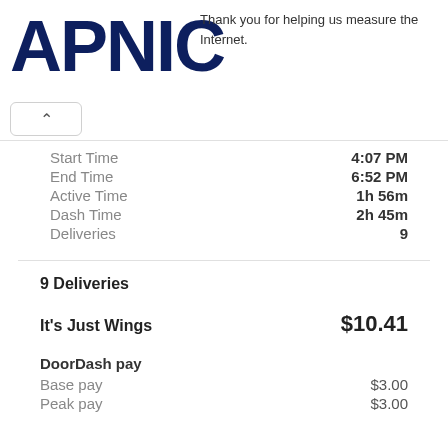APNIC — Thank you for helping us measure the Internet.
| Field | Value |
| --- | --- |
| Start Time | 4:07 PM |
| End Time | 6:52 PM |
| Active Time | 1h 56m |
| Dash Time | 2h 45m |
| Deliveries | 9 |
9 Deliveries
It's Just Wings — $10.41
DoorDash pay
Base pay — $3.00
Peak pay — $3.00